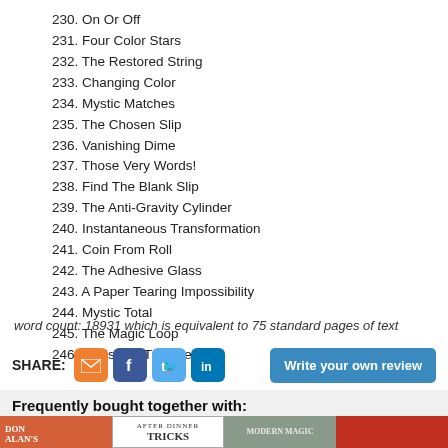230. On Or Off
231. Four Color Stars
232. The Restored String
233. Changing Color
234. Mystic Matches
235. The Chosen Slip
236. Vanishing Dime
237. Those Very Words!
238. Find The Blank Slip
239. The Anti-Gravity Cylinder
240. Instantaneous Transformation
241. Coin From Roll
242. The Adhesive Glass
243. A Paper Tearing Impossibility
244. Mystic Total
245. The Magic Loop
246. Vanishing Thimble
word count: 18931 which is equivalent to 75 standard pages of text
SHARE:
Write your own review
Frequently bought together with:
[Figure (photo): Book covers: Don Alan's, After Dinner Tricks, Modern Magic, and a red book]